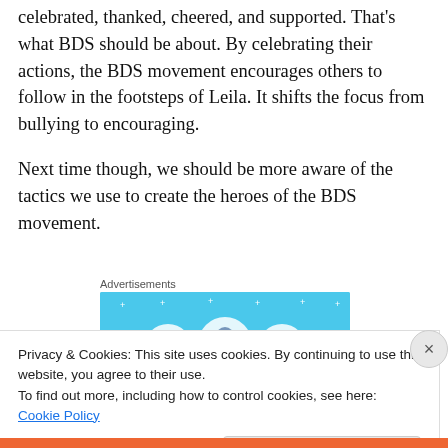celebrated, thanked, cheered, and supported. That's what BDS should be about. By celebrating their actions, the BDS movement encourages others to follow in the footsteps of Leila. It shifts the focus from bullying to encouraging.
Next time though, we should be more aware of the tactics we use to create the heroes of the BDS movement.
Advertisements
[Figure (illustration): Advertisement banner with light blue background showing circular icon illustrations of documents and a figure]
Privacy & Cookies: This site uses cookies. By continuing to use this website, you agree to their use.
To find out more, including how to control cookies, see here: Cookie Policy
Close and accept